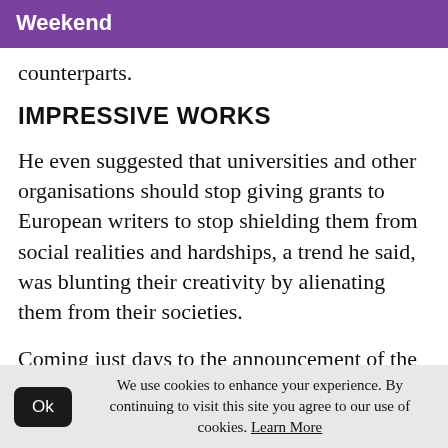Weekend
counterparts.
IMPRESSIVE WORKS
He even suggested that universities and other organisations should stop giving grants to European writers to stop shielding them from social realities and hardships, a trend he said, was blunting their creativity by alienating them from their societies.
Coming just days to the announcement of the prize, this could have been interpreted to mean
We use cookies to enhance your experience. By continuing to visit this site you agree to our use of cookies. Learn More